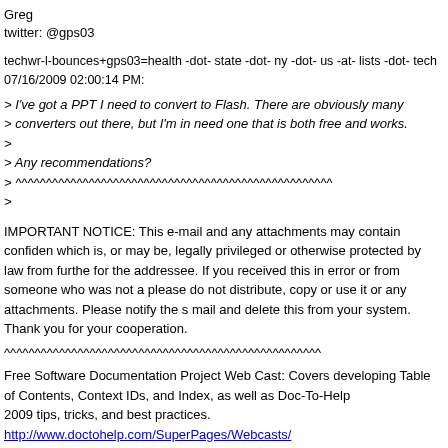Greg
twitter: @gps03
techwr-l-bounces+gps03=health -dot- state -dot- ny -dot- us -at- lists -dot- tech
07/16/2009 02:00:14 PM:
> I've got a PPT I need to convert to Flash. There are obviously many
> converters out there, but I'm in need one that is both free and works.
>
> Any recommendations?
> ^^^^^^^^^^^^^^^^^^^^^^^^^^^^^^^^^^^^^^^^^^^^^^^^^^^^
>
IMPORTANT NOTICE: This e-mail and any attachments may contain confiden which is, or may be, legally privileged or otherwise protected by law from furthe for the addressee. If you received this in error or from someone who was not a please do not distribute, copy or use it or any attachments. Please notify the s mail and delete this from your system. Thank you for your cooperation.
^^^^^^^^^^^^^^^^^^^^^^^^^^^^^^^^^^^^^^^^^^^^^^^^^^^^
Free Software Documentation Project Web Cast: Covers developing Table of Contents, Context IDs, and Index, as well as Doc-To-Help
2009 tips, tricks, and best practices.
http://www.doctohelp.com/SuperPages/Webcasts/
Help & Manual 5: The complete help authoring tool for individual authors and teams. Professional power, intuitive interface. Write